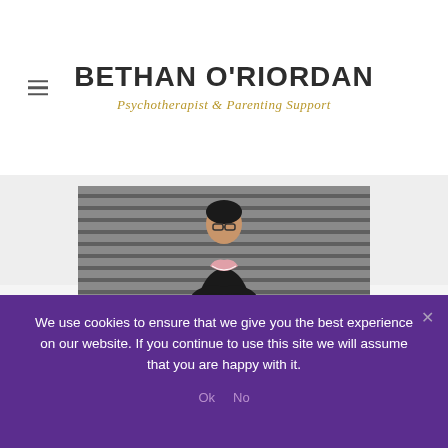BETHAN O'RIORDAN
Psychotherapist & Parenting Support
[Figure (photo): Professional headshot of a woman with short dark hair and glasses, wearing a black top with a pink and white scarf, standing in front of corrugated metal shutters]
We use cookies to ensure that we give you the best experience on our website. If you continue to use this site we will assume that you are happy with it.
Ok   No